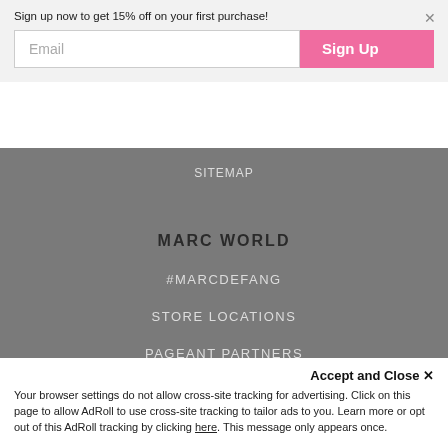Sign up now to get 15% off on your first purchase!
Email
Sign Up
SITEMAP
MARC WORLD
#MARCDEFANG
STORE LOCATIONS
PAGEANT PARTNERS
SHOP THE STORE
SHOES
GIRLS SHOES
Accept and Close ✕
Your browser settings do not allow cross-site tracking for advertising. Click on this page to allow AdRoll to use cross-site tracking to tailor ads to you. Learn more or opt out of this AdRoll tracking by clicking here. This message only appears once.